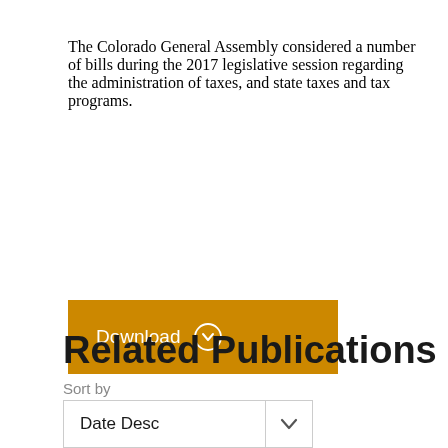The Colorado General Assembly considered a number of bills during the 2017 legislative session regarding the administration of taxes, and state taxes and tax programs.
[Figure (other): Orange download button with right-arrow circle icon and white text 'Download']
Related Publications
Sort by
Date Desc